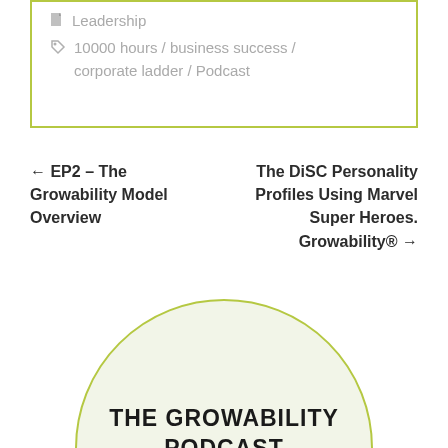Leadership
10000 hours / business success / corporate ladder / Podcast
← EP2 – The Growability Model Overview
The DiSC Personality Profiles Using Marvel Super Heroes. Growability® →
[Figure (logo): Circular logo with light green background and border reading 'THE GROWABILITY PODCAST']